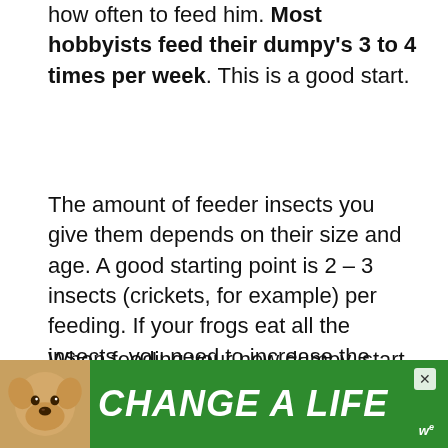how often to feed him. Most hobbyists feed their dumpy's 3 to 4 times per week. This is a good start.
The amount of feeder insects you give them depends on their size and age. A good starting point is 2 – 3 insects (crickets, for example) per feeding. If your frogs eat all the insects, you need to increase the number by 1 the next time you feed them.
When feeding your new dumpy, start with 2 – 3 appropriately-sized crickets every other day. If all the crickets are eaten within an hour of feeding,
[Figure (other): Advertisement banner with green background showing a dog photo and the text 'CHANGE A LIFE' in white bold italic letters, with a close button and a logo]